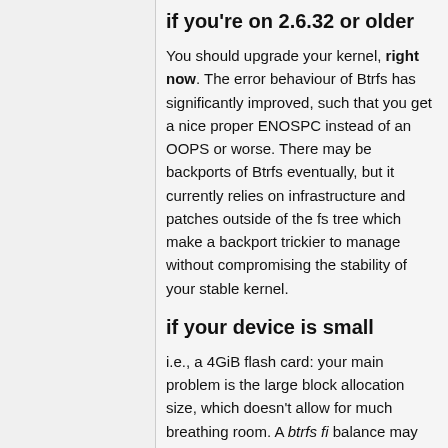if you're on 2.6.32 or older
You should upgrade your kernel, right now. The error behaviour of Btrfs has significantly improved, such that you get a nice proper ENOSPC instead of an OOPS or worse. There may be backports of Btrfs eventually, but it currently relies on infrastructure and patches outside of the fs tree which make a backport trickier to manage without compromising the stability of your stable kernel.
if your device is small
i.e., a 4GiB flash card: your main problem is the large block allocation size, which doesn't allow for much breathing room. A btrfs fi balance may get you working again, but it's probably only a short term fix, as the metadata to data ratio probably won't match the block allocations.
If you can afford to delete files, you can clobber a file via